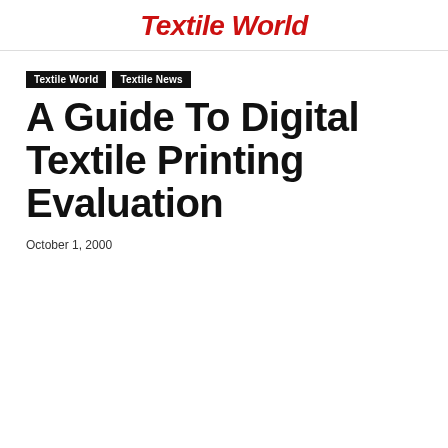Textile World
Textile World
Textile News
A Guide To Digital Textile Printing Evaluation
October 1, 2000